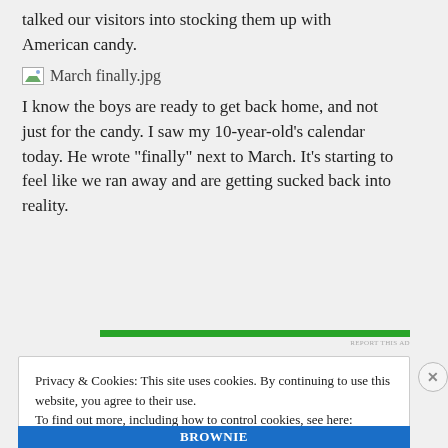talked our visitors into stocking them up with American candy.
[Figure (photo): Image placeholder: March finally.jpg]
I know the boys are ready to get back home, and not just for the candy. I saw my 10-year-old’s calendar today. He wrote “finally” next to March. It’s starting to feel like we ran away and are getting sucked back into reality.
Privacy & Cookies: This site uses cookies. By continuing to use this website, you agree to their use.
To find out more, including how to control cookies, see here: Cookie Policy